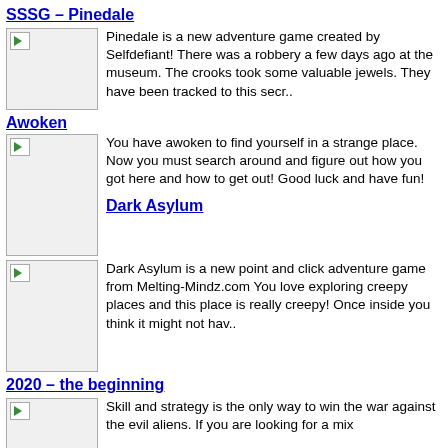SSSG – Pinedale
[Figure (photo): Thumbnail image placeholder for SSSG Pinedale game]
Pinedale is a new adventure game created by Selfdefiant! There was a robbery a few days ago at the museum. The crooks took some valuable jewels. They have been tracked to this secr..
Awoken
[Figure (photo): Thumbnail image placeholder for Awoken game]
You have awoken to find yourself in a strange place. Now you must search around and figure out how you got here and how to get out! Good luck and have fun!
Dark Asylum
[Figure (photo): Thumbnail image placeholder for Dark Asylum game]
Dark Asylum is a new point and click adventure game from Melting-Mindz.com You love exploring creepy places and this place is really creepy! Once inside you think it might not hav..
2020 – the beginning
[Figure (photo): Thumbnail image placeholder for 2020 the beginning game]
Skill and strategy is the only way to win the war against the evil aliens. If you are looking for a mix